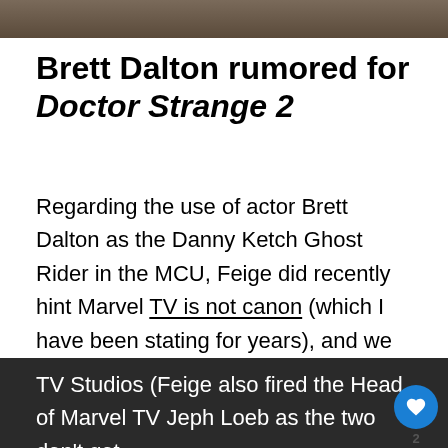[Figure (photo): Top image strip showing a partial photo of people, cropped at top of page]
Brett Dalton rumored for Doctor Strange 2
Regarding the use of actor Brett Dalton as the Danny Ketch Ghost Rider in the MCU, Feige did recently hint Marvel TV is not canon (which I have been stating for years), and we can also add that Feige recently shut down Marvel TV (including canceling the Ghost Rider TV series) and rebranded it to Marvel TV Studios (Feige also fired the Head of Marvel TV Jeph Loeb as the two don't get
[Figure (other): Floating heart/like button (blue circle with heart icon) showing count of 2, and a share button below it]